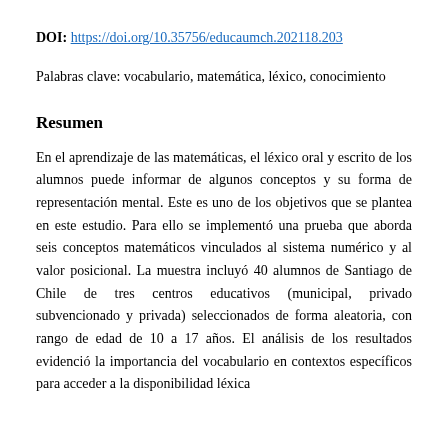DOI: https://doi.org/10.35756/educaumch.202118.203
Palabras clave: vocabulario, matemática, léxico, conocimiento
Resumen
En el aprendizaje de las matemáticas, el léxico oral y escrito de los alumnos puede informar de algunos conceptos y su forma de representación mental. Este es uno de los objetivos que se plantea en este estudio. Para ello se implementó una prueba que aborda seis conceptos matemáticos vinculados al sistema numérico y al valor posicional. La muestra incluyó 40 alumnos de Santiago de Chile de tres centros educativos (municipal, privado subvencionado y privada) seleccionados de forma aleatoria, con rango de edad de 10 a 17 años. El análisis de los resultados evidenció la importancia del vocabulario en contextos específicos para acceder a la disponibilidad léxica